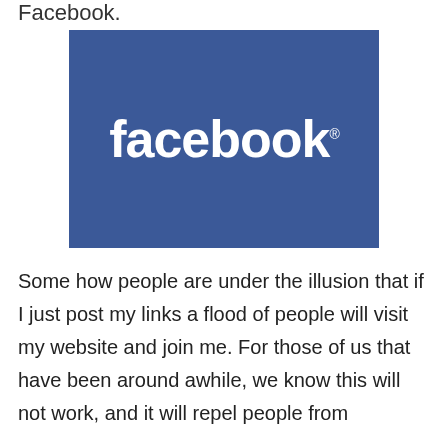Facebook.
[Figure (logo): Facebook logo — white 'facebook' wordmark on a blue rectangular background]
Some how people are under the illusion that if I just post my links a flood of people will visit my website and join me. For those of us that have been around awhile, we know this will not work, and it will repel people from